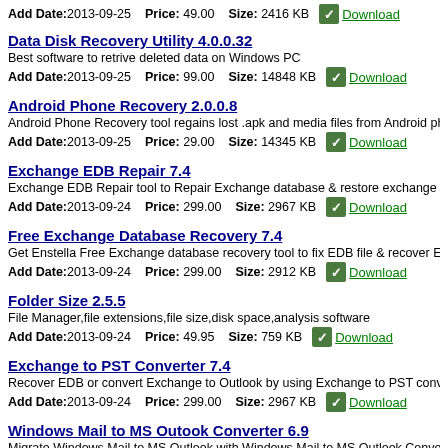Add Date:2013-09-25  Price: 49.00  Size: 2416 KB  Download
Data Disk Recovery Utility 4.0.0.32
Best software to retrive deleted data on Windows PC
Add Date:2013-09-25  Price: 99.00  Size: 14848 KB  Download
Android Phone Recovery 2.0.0.8
Android Phone Recovery tool regains lost .apk and media files from Android pho...
Add Date:2013-09-25  Price: 29.00  Size: 14345 KB  Download
Exchange EDB Repair 7.4
Exchange EDB Repair tool to Repair Exchange database & restore exchange ma...
Add Date:2013-09-24  Price: 299.00  Size: 2967 KB  Download
Free Exchange Database Recovery 7.4
Get Enstella Free Exchange database recovery tool to fix EDB file & recover EDB...
Add Date:2013-09-24  Price: 299.00  Size: 2912 KB  Download
Folder Size 2.5.5
File Manager,file extensions,file size,disk space,analysis software
Add Date:2013-09-24  Price: 49.95  Size: 759 KB  Download
Exchange to PST Converter 7.4
Recover EDB or convert Exchange to Outlook by using Exchange to PST conver...
Add Date:2013-09-24  Price: 299.00  Size: 2967 KB  Download
Windows Mail to MS Outook Converter 6.9
Migrate Windows Mail to MS Outlook with Windows Mail to MS Outlook Converte...
Add Date:2013-09-24  Price: 49.00  Size: 2416 KB  Download